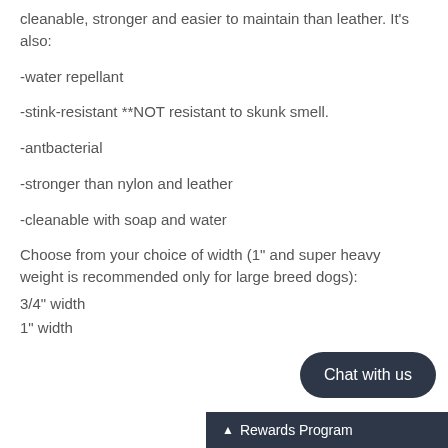cleanable, stronger and easier to maintain than leather. It's also:
-water repellant
-stink-resistant **NOT resistant to skunk smell.
-antbacterial
-stronger than nylon and leather
-cleanable with soap and water
Choose from your choice of width (1" and super heavy weight is recommended only for large breed dogs):
3/4" width
1" width